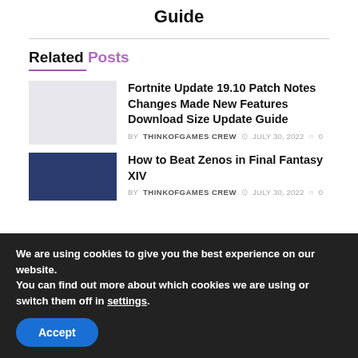Guide
Related Posts
Fortnite Update 19.10 Patch Notes Changes Made New Features Download Size Update Guide
BY THINKOFGAMES CREW  JULY 30, 2022  0
How to Beat Zenos in Final Fantasy XIV
BY THINKOFGAMES CREW  JULY 30, 2022  0
We are using cookies to give you the best experience on our website.
You can find out more about which cookies we are using or switch them off in settings.
Accept